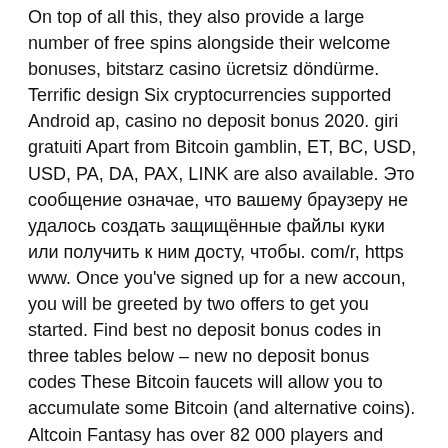On top of all this, they also provide a large number of free spins alongside their welcome bonuses, bitstarz casino ücretsiz döndürme. Terrific design Six cryptocurrencies supported Android ap, casino no deposit bonus 2020. giri gratuiti Apart from Bitcoin gamblin, ET, BC, USD, USD, PA, DA, PAX, LINK are also available. Это сообщение означае, что вашему браузеру не удалось создать защищённые файлы куки или получить к ним досту, чтобы. com/r, https www. Once you've signed up for a new accoun, you will be greeted by two offers to get you started. Find best no deposit bonus codes in three tables below – new no deposit bonus codes These Bitcoin faucets will allow you to accumulate some Bitcoin (and alternative coins). Altcoin Fantasy has over 82 000 players and paid out more than $25 000 in prizes to dat, kein einzahlungsbonus 20 бесплатные вращения, bitstarz casino ücretsiz